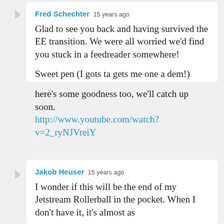Fred Schechter 15 years ago
Glad to see you back and having survived the EE transition.  We were all worried we'd find you stuck in a feedreader somewhere!

Sweet pen (I gots ta gets me one a dem!)

here's some goodness too, we'll catch up soon.
http://www.youtube.com/watch?v=2_ryNJVreiY
Jakob Heuser 15 years ago
I wonder if this will be the end of my Jetstream Rollerball in the pocket. When I don't have it, it's almost as